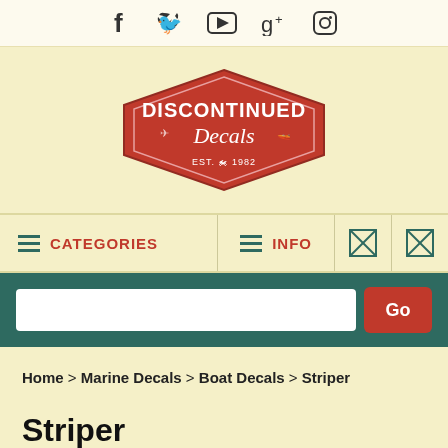[Figure (screenshot): Social media icons bar: Facebook, Twitter, YouTube, Google+, Instagram]
[Figure (logo): Discontinued Decals logo — red hexagonal badge with white text reading DISCONTINUED Decals, EST. 1982, with vehicle silhouettes]
[Figure (screenshot): Navigation bar with hamburger menu icons, CATEGORIES label in red, INFO label in red, and two box/close icons]
[Figure (screenshot): Search bar with white text input field and red Go button on dark teal background]
Home > Marine Decals > Boat Decals > Striper
Striper